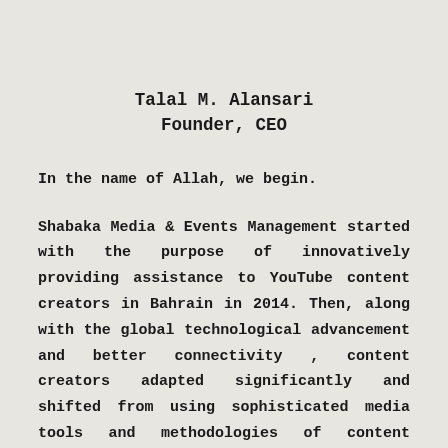Talal M. Alansari
Founder, CEO
In the name of Allah, we begin.
Shabaka Media & Events Management started with the purpose of innovatively providing assistance to YouTube content creators in Bahrain in 2014. Then, along with the global technological advancement and better connectivity , content creators adapted significantly and shifted from using sophisticated media tools and methodologies of content creation to using the simplest tools available to them, their smart phones and the